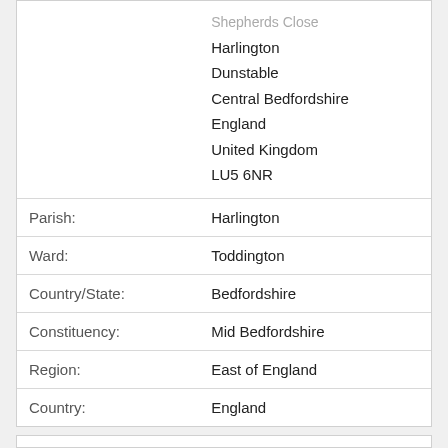|  | Shepherds Close
Harlington
Dunstable
Central Bedfordshire
England
United Kingdom
LU5 6NR |
| Parish: | Harlington |
| Ward: | Toddington |
| Country/State: | Bedfordshire |
| Constituency: | Mid Bedfordshire |
| Region: | East of England |
| Country: | England |